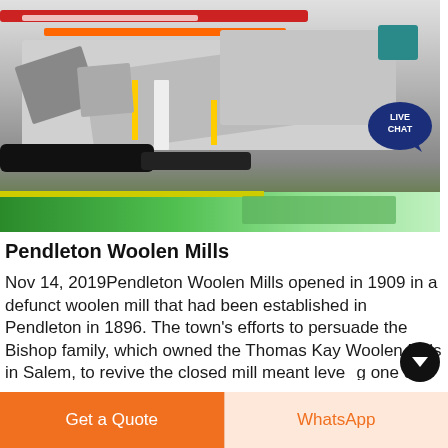[Figure (photo): Industrial mining/crushing machinery on a factory floor with green-painted floor surface. A 'LIVE CHAT' speech bubble icon is overlaid at the top right of the image.]
Pendleton Woolen Mills
Nov 14, 2019Pendleton Woolen Mills opened in 1909 in a defunct woolen mill that had been established in Pendleton in 1896. The town's efforts to persuade the Bishop family, which owned the Thomas Kay Woolen Mills in Salem, to revive the closed mill meant leveraging one of eastern Oregon's economic strengths — its
Get a Quote
WhatsApp